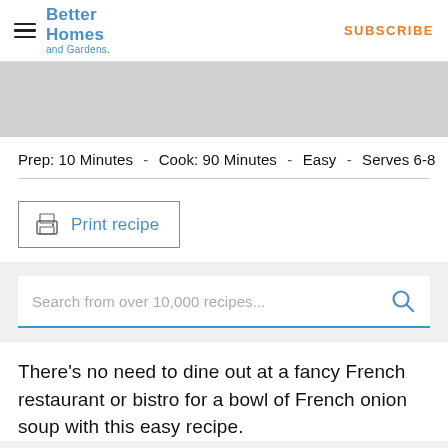Better Homes and Gardens — SUBSCRIBE
[Figure (photo): Gray placeholder image area for a recipe photo]
Prep: 10 Minutes  -  Cook: 90 Minutes  -  Easy  -  Serves 6-8
Print recipe
Search from over 10,000 recipes...
There's no need to dine out at a fancy French restaurant or bistro for a bowl of French onion soup with this easy recipe.